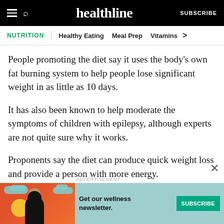healthline | SUBSCRIBE
NUTRITION | Healthy Eating | Meal Prep | Vitamins
People promoting the diet say it uses the body's own fat burning system to help people lose significant weight in as little as 10 days.
It has also been known to help moderate the symptoms of children with epilepsy, although experts are not quite sure why it works.
Proponents say the diet can produce quick weight loss and provide a person with more energy.
[Figure (illustration): Advertisement banner with illustration of a woman with dark hair against orange/red background with clouds, teal background. Text reads: Get our wellness newsletter. SUBSCRIBE button in teal.]